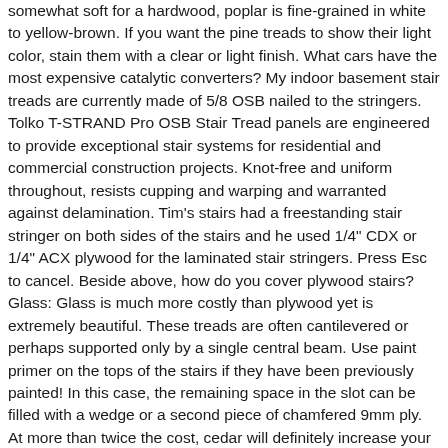somewhat soft for a hardwood, poplar is fine-grained in white to yellow-brown. If you want the pine treads to show their light color, stain them with a clear or light finish. What cars have the most expensive catalytic converters? My indoor basement stair treads are currently made of 5/8 OSB nailed to the stringers. Tolko T-STRAND Pro OSB Stair Tread panels are engineered to provide exceptional stair systems for residential and commercial construction projects. Knot-free and uniform throughout, resists cupping and warping and warranted against delamination. Tim's stairs had a freestanding stair stringer on both sides of the stairs and he used 1/4" CDX or 1/4" ACX plywood for the laminated stair stringers. Press Esc to cancel. Beside above, how do you cover plywood stairs? Glass: Glass is much more costly than plywood yet is extremely beautiful. These treads are often cantilevered or perhaps supported only by a single central beam. Use paint primer on the tops of the stairs if they have been previously painted! In this case, the remaining space in the slot can be filled with a wedge or a second piece of chamfered 9mm ply. At more than twice the cost, cedar will definitely increase your budget drastically. Allow the primer to dry thoroughly, generally two to four hours. If you are planning on building a closed riser staircase, then what should the riser thickness be? Plywood: Like mentioned above, plywood is inexpensive, easy to work with, and quite durable at a 1â to 1 ½ â thickness. Beech Stair Treads: Stronger than oak or maple, beech is typically a reddish-brown wood that is fairly straight grained. For instance, if you use four stringers, the tread